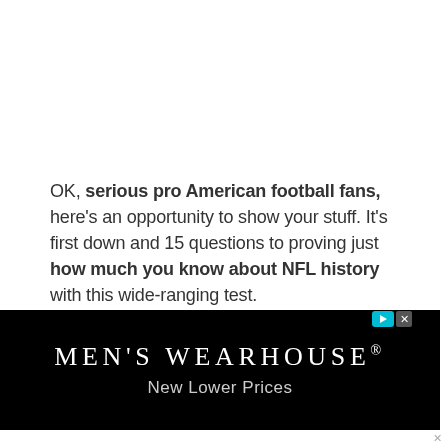OK, serious pro American football fans, here's an opportunity to show your stuff. It's first down and 15 questions to proving just how much you know about NFL history with this wide-ranging test.
[Figure (other): Men's Wearhouse advertisement banner with black background, showing brand name 'MEN'S WEARHOUSE®' in white serif letters and tagline 'New Lower Prices' in light gray.]